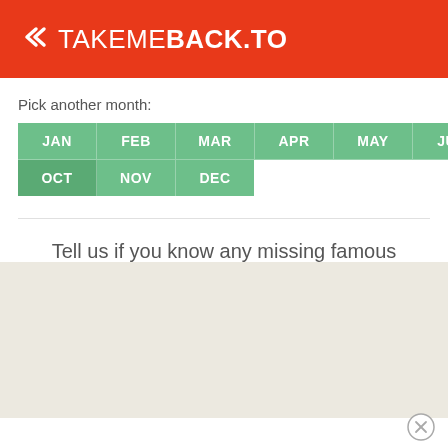TAKEMEBACK.TO
Pick another month:
JAN FEB MAR APR MAY JUN JUL AUG SEP OCT NOV DEC
Tell us if you know any missing famous people born on the 16th of October!
[Figure (other): Advertisement placeholder area with beige/tan background]
[Figure (other): Close button circle with X icon]